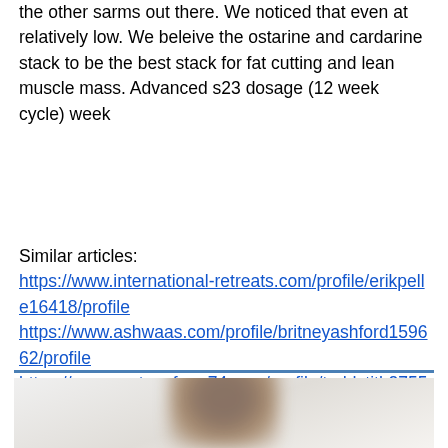the other sarms out there. We noticed that even at relatively low. We beleive the ostarine and cardarine stack to be the best stack for fat cutting and lean muscle mass. Advanced s23 dosage (12 week cycle) week
Similar articles:
https://www.international-retreats.com/profile/erikpelle16418/profile
https://www.ashwaas.com/profile/britneyashford159662/profile
https://www.portageform74.com/profile/teddytith27552/profile
https://www.studio151fitness.com/profile/darnellskahan104108/profile
[Figure (photo): A blurred photograph of a person, showing their head and upper body against a light background.]